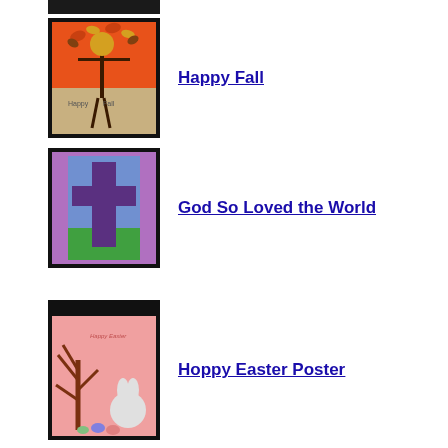[Figure (photo): Partially visible image at top, black background visible]
[Figure (photo): Happy Fall artwork - orange background with autumn leaves and a scarecrow figure with text 'Happy Fall']
Happy Fall
[Figure (photo): God So Loved the World artwork - purple background with large cross and stained glass style coloring]
God So Loved the World
[Figure (photo): Hoppy Easter Poster - pink background with a tree, Easter bunny, and Easter eggs]
Hoppy Easter Poster